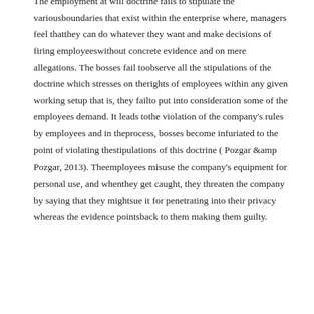The employment at will doctrine fails to stipulate the variousboundaries that exist within the enterprise where, managers feel thatthey can do whatever they want and make decisions of firing employeeswithout concrete evidence and on mere allegations. The bosses fail toobserve all the stipulations of the doctrine which stresses on therights of employees within any given working setup that is, they failto put into consideration some of the employees demand. It leads tothe violation of the company's rules by employees and in theprocess, bosses become infuriated to the point of violating thestipulations of this doctrine ( Pozgar &amp Pozgar, 2013). Theemployees misuse the company's equipment for personal use, and whenthey get caught, they threaten the company by saying that they mightsue it for penetrating into their privacy whereas the evidence pointsback to them making them guilty.